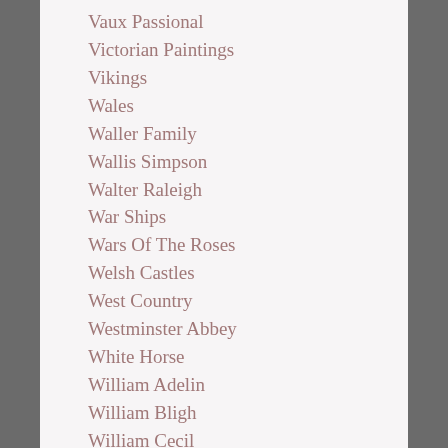Vaux Passional
Victorian Paintings
Vikings
Wales
Waller Family
Wallis Simpson
Walter Raleigh
War Ships
Wars Of The Roses
Welsh Castles
West Country
Westminster Abbey
White Horse
William Adelin
William Bligh
William Cecil
William Davidson
William De Mandeville
William De Wrotham